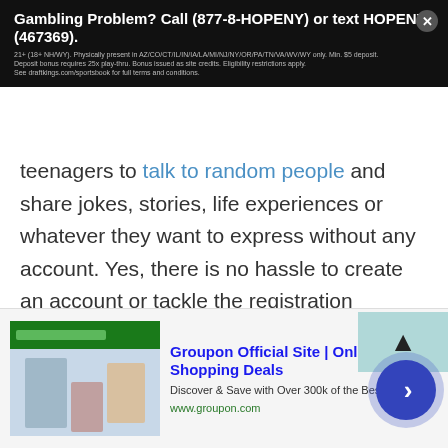[Figure (screenshot): Top advertisement banner with black diagonal-stripe background. Text reads: 'Gambling Problem? Call (877-8-HOPENY) or text HOPENY (467369).' with small disclaimer text below. Close button (×) in top right.]
teenagers to talk to random people and share jokes, stories, life experiences or whatever they want to express without any account. Yes, there is no hassle to create an account or tackle the registration process. Talking to strangers in Lao People's Democratic Republic for teens is extremely fun and absolutely free.
Teen chat helps all girls and boys to express their emotions, share suggestions or opinions and do what to get out of boredom. You can join TWS teen
[Figure (screenshot): Bottom advertisement: Groupon Official Site | Online Shopping Deals. Discover & Save with Over 300k of the Best Deals. www.groupon.com. With thumbnail image showing shopping photos. Close button and navigation arrow button.]